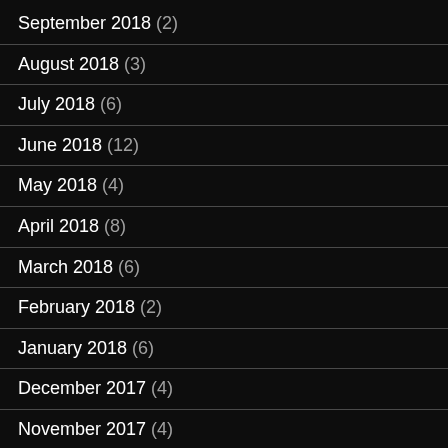September 2018 (2)
August 2018 (3)
July 2018 (6)
June 2018 (12)
May 2018 (4)
April 2018 (8)
March 2018 (6)
February 2018 (2)
January 2018 (6)
December 2017 (4)
November 2017 (4)
October 2017 (6)
September 2017 (4)